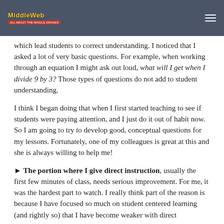MiddleWeb
which lead students to correct understanding. I noticed that I asked a lot of very basic questions. For example, when working through an equation I might ask out loud, what will I get when I divide 9 by 3? Those types of questions do not add to student understanding.
I think I began doing that when I first started teaching to see if students were paying attention, and I just do it out of habit now. So I am going to try to develop good, conceptual questions for my lessons. Fortunately, one of my colleagues is great at this and she is always willing to help me!
► The portion where I give direct instruction, usually the first few minutes of class, needs serious improvement. For me, it was the hardest part to watch. I really think part of the reason is because I have focused so much on student centered learning (and rightly so) that I have become weaker with direct